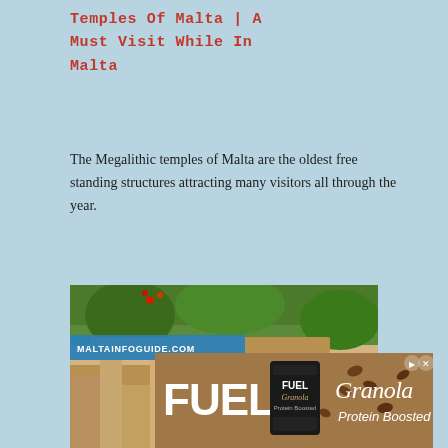Temples Of Malta | A Must Visit While In Malta
The Megalithic temples of Malta are the oldest free standing structures attracting many visitors all through the year.
[Figure (photo): Photo of ancient megalithic stone temple structures at Tarxien, Malta. Stone pillars and lintels visible. Blue banner with MALTAINFOGUIDE.COM watermark text at top left. Blue TARXIEN label bar at bottom left.]
[Figure (photo): Advertisement banner for FUEL Granola Protein Boosted product. Brown/tan background. Large white FUEL text on left, FUEL Granola product can in center, Granola Protein Boosted script text on right.]